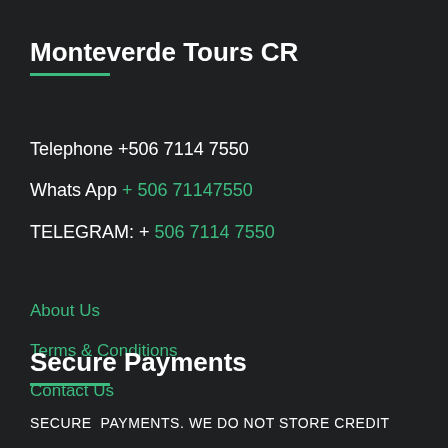Monteverde Tours CR
Telephone +506 7114 7550
Whats App + 506 71147550
TELEGRAM: + 506 7114 7550
About Us
Terms & Conditions
Contact Us
Secure Payments
SECURE  PAYMENTS. WE DO NOT STORE CREDIT